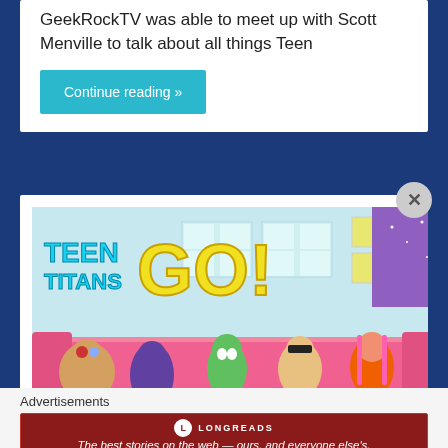GeekRockTV was able to meet up with Scott Menville to talk about all things Teen
Continue reading »
[Figure (screenshot): Teen Titans Go! cartoon image showing the Teen Titans characters (Cyborg, Raven, Beast Boy, Robin, Starfire) sitting on a pink couch with the Teen Titans Go! logo in the top left corner]
Advertisements
[Figure (screenshot): Longreads advertisement banner in dark red with the Longreads logo and tagline: The best stories on the web — ours, and everyone else's.]